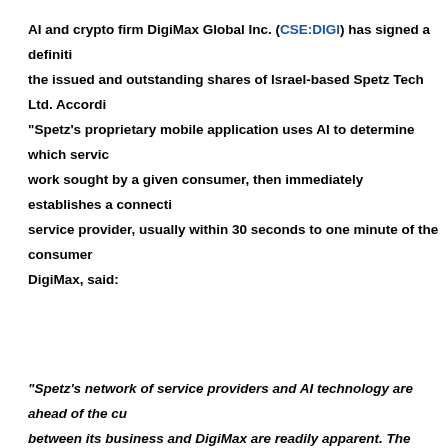AI and crypto firm DigiMax Global Inc. (CSE:DIGI) has signed a definiti... the issued and outstanding shares of Israel-based Spetz Tech Ltd. Accordi... "Spetz's proprietary mobile application uses AI to determine which servic... work sought by a given consumer, then immediately establishes a connecti... service provider, usually within 30 seconds to one minute of the consumer... DigiMax, said:
"Spetz's network of service providers and AI technology are ahead of the cu... between its business and DigiMax are readily apparent. The rapid adoption o... Australia and the UK has shown that Spetz's model works, and with the supp... believe that a similar, if not greater, rate of adoption of Spetz's application w...